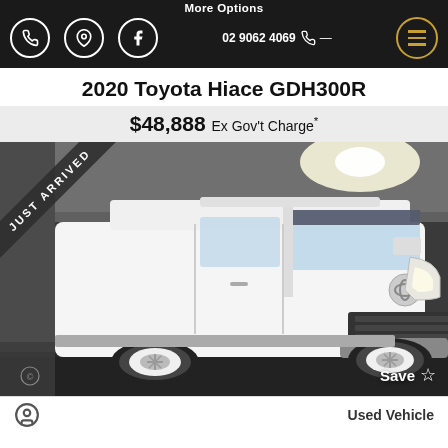More Options
2020 Toyota Hiace GDH300R
$48,888 Ex Gov't Charge*
[Figure (photo): White 2020 Toyota Hiace GDH300R van photographed in a parking garage with a 'JUST ARRIVED' diagonal banner on the top-left corner and a 'Save' button with a star icon at the bottom-right.]
Used Vehicle